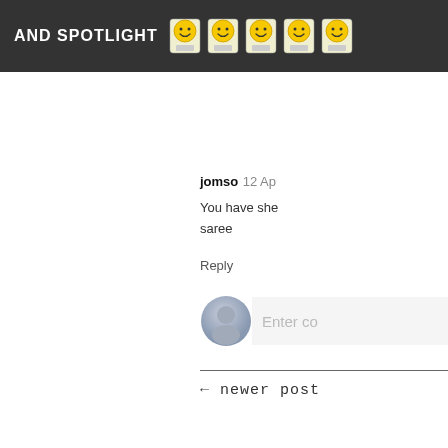AND SPOTLIGHT
jomso  12 Ap
You have she
saree
Reply
Enter co
← newer post